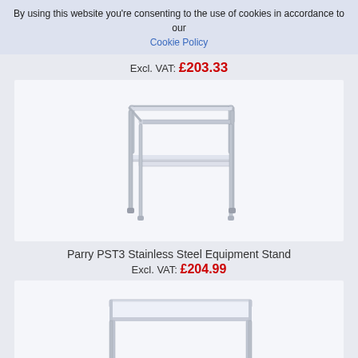By using this website you're consenting to the use of cookies in accordance to our Cookie Policy
Excl. VAT: £203.33
[Figure (photo): Parry PST3 Stainless Steel Equipment Stand - a stainless steel open frame stand with a lower shelf and four legs with adjustable feet]
Parry PST3 Stainless Steel Equipment Stand
Excl. VAT: £204.99
[Figure (photo): Connecta HEE651 Stainless Steel Centre Table with undershelf - a rectangular stainless steel work table with four legs and a lower shelf]
Connecta HEE651 Stainless Steel Centre Table with